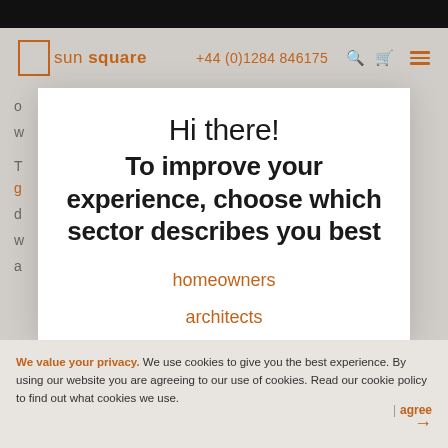sun square | +44 (0)1284 846175
Hi there!
To improve your experience, choose which sector describes you best
homeowners
architects
contractors
I'm just having a browse.
We value your privacy. We use cookies to give you the best experience. By using our website you are agreeing to our use of cookies. Read our cookie policy to find out what cookies we use. | agree →